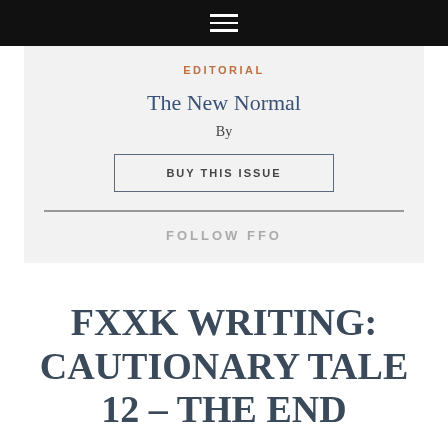EDITORIAL
The New Normal
By
BUY THIS ISSUE
FOLLOW FFO
FXXK WRITING: CAUTIONARY TALE 12 – THE END